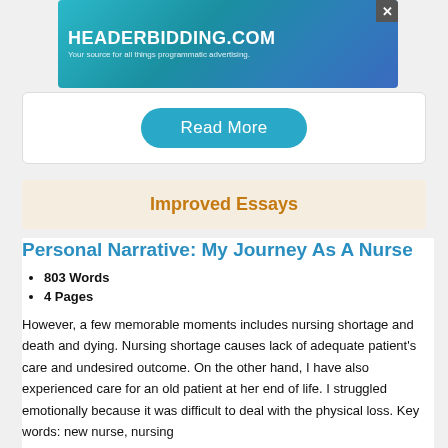[Figure (screenshot): HEADERBIDDING.COM advertisement banner with teal/blue gradient background and text 'Your source for all things programmatic advertising.']
[Figure (screenshot): Read More button in teal/cyan rounded rectangle style]
Improved Essays
Personal Narrative: My Journey As A Nurse
803 Words
4 Pages
However, a few memorable moments includes nursing shortage and death and dying. Nursing shortage causes lack of adequate patient's care and undesired outcome. On the other hand, I have also experienced care for an old patient at her end of life. I struggled emotionally because it was difficult to deal with the physical loss. Key words: new nurse, nursing